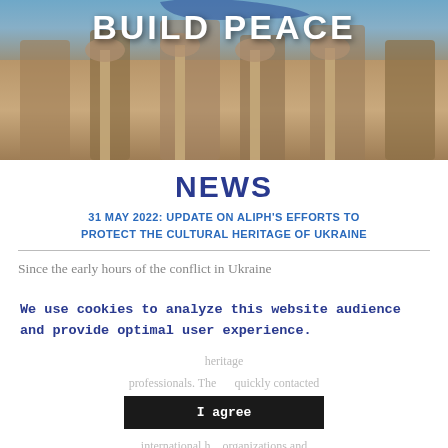[Figure (photo): Hero image showing ancient ruins/colonnades in warm sandy tones with 'BUILD PEACE' text overlaid]
NEWS
31 MAY 2022: UPDATE ON ALIPH'S EFFORTS TO PROTECT THE CULTURAL HERITAGE OF UKRAINE
Since the early hours of the conflict in Ukraine
We use cookies to analyze this website audience and provide optimal user experience.
I agree
Accept only necessary cookies
Cookie settings
heritage professionals. The quickly contacted international h. organizations and Ukrainian s south and Milaovan mc works. with ti approached Ukrainian prof nd respond to the needs from the ground. On March 7, ALIPH